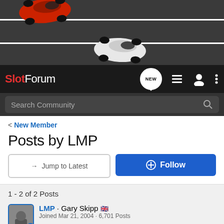[Figure (photo): Aerial top-down view of slot cars on a road track — a red car and a white car on a dark asphalt road with white lane lines]
SlotForum — navigation bar with NEW, list, user, and menu icons, and Search Community search bar
< New Member
Posts by LMP
→ Jump to Latest   ⊕ Follow
1 - 2 of 2 Posts
LMP · Gary Skipp 🇬🇧
Joined Mar 21, 2004 · 6,701 Posts